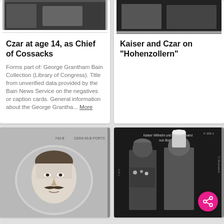[Figure (photo): Partial view of a black and white historical photograph - top portion of card 1, cropped]
Czar at age 14, as Chief of Cossacks
Forms part of: George Grantham Bain Collection (Library of Congress). Title from unverified data provided by the Bain News Service on the negatives or caption cards. General information about the George Grantha... More
[Figure (photo): Partial view of a black and white historical photograph - top portion of card 2, cropped]
Kaiser and Czar on "Hohenzollern"
[Figure (photo): Black and white portrait photograph of a man with mustache, oval frame, handwritten annotations on the image]
[Figure (photo): Black and white photograph of two men in military uniforms with helmets, text overlay at top reading Kaiser Wilhelm und Zar Ferdinand von Bulgaria]